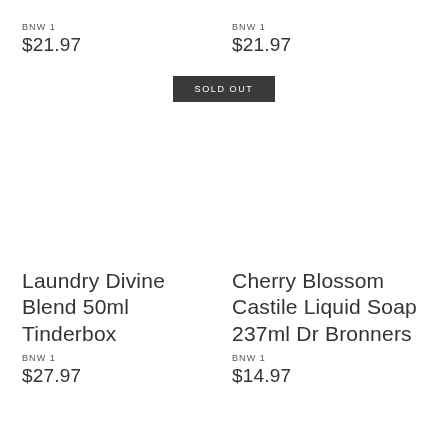BNW 1
$21.97
BNW 1
$21.97
SOLD OUT
Laundry Divine Blend 50ml Tinderbox
BNW 1
$27.97
Cherry Blossom Castile Liquid Soap 237ml Dr Bronners
BNW 1
$14.97